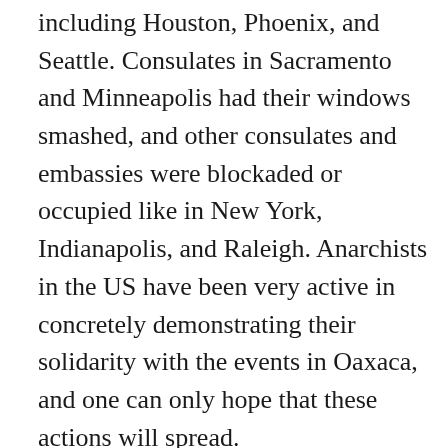including Houston, Phoenix, and Seattle. Consulates in Sacramento and Minneapolis had their windows smashed, and other consulates and embassies were blockaded or occupied like in New York, Indianapolis, and Raleigh. Anarchists in the US have been very active in concretely demonstrating their solidarity with the events in Oaxaca, and one can only hope that these actions will spread.
The course of the conflict is being played out as we write. The Zapatistas have called for a general strike in Mexico on November 20, and scores of actions are planned in the US and abroad for that day as well. Consulates and embassies are clearly targets of interest, but one should not forget that we are fighting an entire system, and that demonstrating solidarity with Oaxaca can take many forms such as shut downs